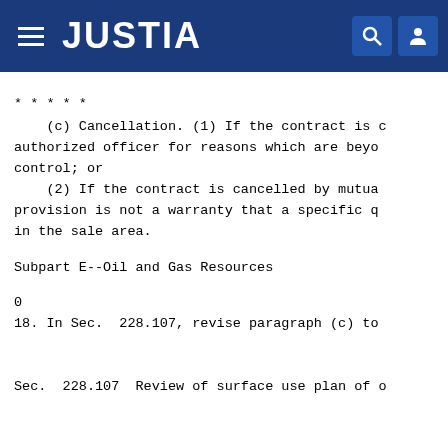JUSTIA
* * * * *
(c) Cancellation. (1) If the contract is c authorized officer for reasons which are beyo control; or
    (2) If the contract is cancelled by mutua provision is not a warranty that a specific q in the sale area.
Subpart E--Oil and Gas Resources
0
18. In Sec.  228.107, revise paragraph (c) to
Sec.  228.107  Review of surface use plan of o